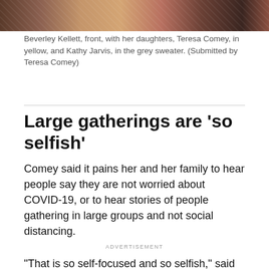[Figure (photo): Top portion of a photo showing people, cropped — colorful clothing visible]
Beverley Kellett, front, with her daughters, Teresa Comey, in yellow, and Kathy Jarvis, in the grey sweater. (Submitted by Teresa Comey)
Large gatherings are 'so selfish'
Comey said it pains her and her family to hear people say they are not worried about COVID-19, or to hear stories of people gathering in large groups and not social distancing.
ADVERTISEMENT
"That is so self-focused and so selfish," said Comey. "Every single one of us is part of the story of what happens going forward."